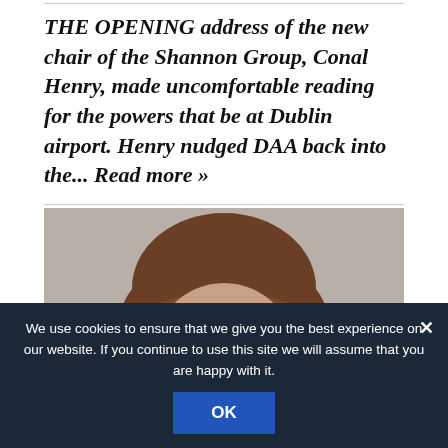THE OPENING address of the new chair of the Shannon Group, Conal Henry, made uncomfortable reading for the powers that be at Dublin airport. Henry nudged DAA back into the... Read more »
[Figure (photo): Close-up photo of a woman with brown hair and bangs, blue eyes, against a neutral background. Only upper portion of face visible.]
We use cookies to ensure that we give you the best experience on our website. If you continue to use this site we will assume that you are happy with it.